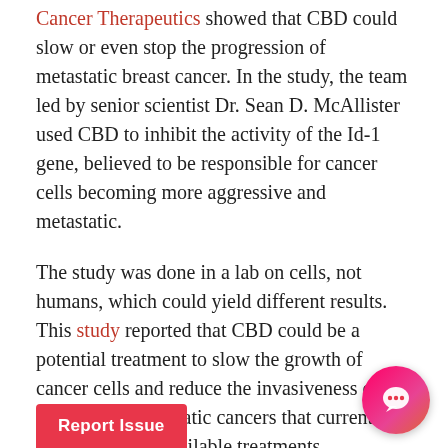Cancer Therapeutics showed that CBD could slow or even stop the progression of metastatic breast cancer. In the study, the team led by senior scientist Dr. Sean D. McAllister used CBD to inhibit the activity of the Id-1 gene, believed to be responsible for cancer cells becoming more aggressive and metastatic.
The study was done in a lab on cells, not humans, which could yield different results. This study reported that CBD could be a potential treatment to slow the growth of cancer cells and reduce the invasiveness of aggressive, metastatic cancers that currently respond to few available treatments.
Further animal studies found that cannabinoids may have anti-tumor effects, but more research is needed to fully understand the mechanisms of how these ph[...] an influence the biology of ca[...]